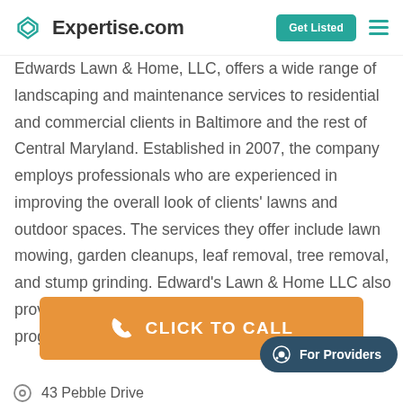Expertise.com — Get Listed
Edwards Lawn & Home, LLC, offers a wide range of landscaping and maintenance services to residential and commercial clients in Baltimore and the rest of Central Maryland. Established in 2007, the company employs professionals who are experienced in improving the overall look of clients' lawns and outdoor spaces. The services they offer include lawn mowing, garden cleanups, leaf removal, tree removal, and stump grinding. Edward's Lawn & Home LLC also provides seasonal cleanup and lawn rejuvenation programs.
CLICK TO CALL
For Providers
43 Pebble Drive